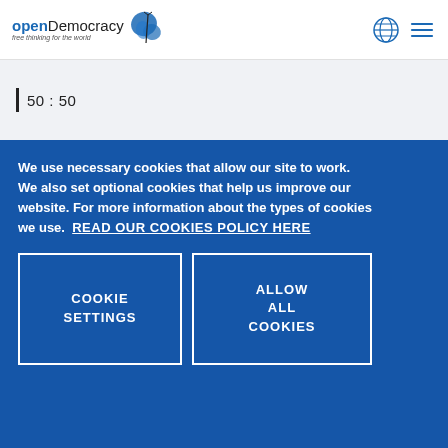openDemocracy free thinking for the world
50:50
We use necessary cookies that allow our site to work. We also set optional cookies that help us improve our website. For more information about the types of cookies we use. READ OUR COOKIES POLICY HERE
COOKIE SETTINGS
ALLOW ALL COOKIES